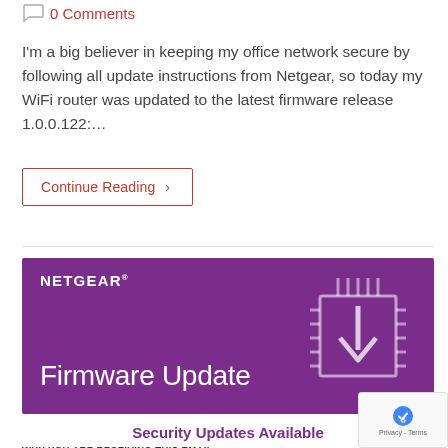0 Comments
I'm a big believer in keeping my office network secure by following all update instructions from Netgear, so today my WiFi router was updated to the latest firmware release 1.0.0.122:…
Continue Reading ›
[Figure (infographic): Netgear branded purple banner with 'Firmware Update' text in white and a download arrow icon on the right side]
Security Updates Available
WHY YOU ARE RECEIVING THIS EMAIL: